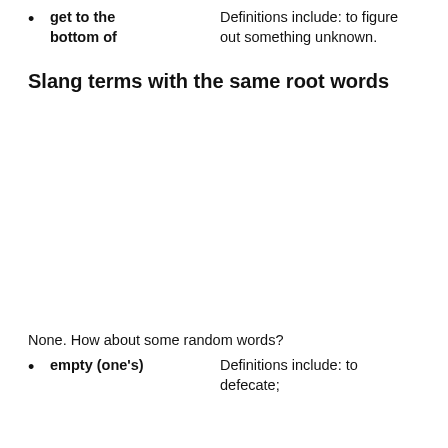get to the bottom of — Definitions include: to figure out something unknown.
Slang terms with the same root words
None. How about some random words?
empty (one's) — Definitions include: to defecate;